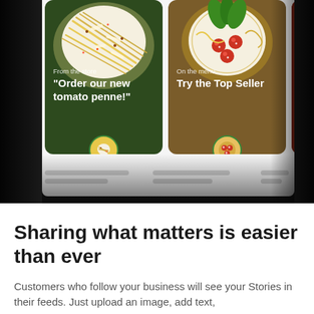[Figure (screenshot): App screenshot showing food story cards with pasta dishes. Left card: 'From the store' label, title "Order our new tomato penne!", food image on dark green background. Right card: 'On the menu' label, title 'Try the Top Seller', pasta dish on golden/brown background. Partial third card visible on right with dark red background. Each card has a circular avatar at bottom. Below cards are placeholder lines. Dark vignette on left and right sides.]
Sharing what matters is easier than ever
Customers who follow your business will see your Stories in their feeds. Just upload an image, add text,